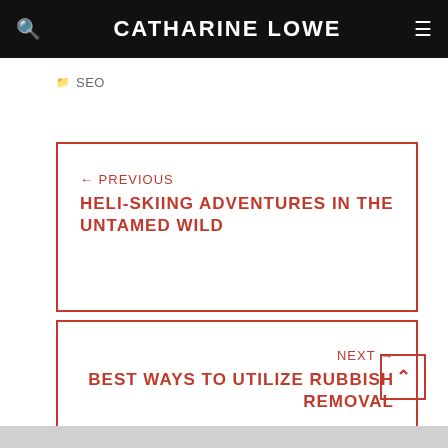CATHARINE LOWE
SEO
← PREVIOUS
HELI-SKIING ADVENTURES IN THE UNTAMED WILD
NEXT →
BEST WAYS TO UTILIZE RUBBISH REMOVAL